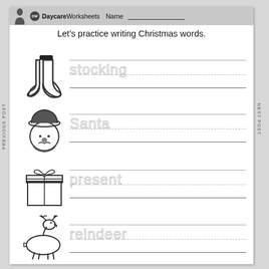DaycareWorksheets  Name ___________
Let's practice writing Christmas words.
[Figure (illustration): Christmas stocking clip art (black and white)]
stocking
[Figure (illustration): Santa Claus face clip art (black and white)]
Santa
[Figure (illustration): Christmas gift / present clip art (black and white)]
present
[Figure (illustration): Reindeer clip art (black and white outline)]
reindeer